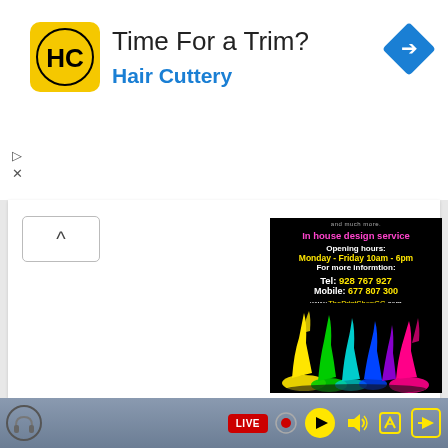[Figure (screenshot): Screenshot of a mobile web browser showing a Hair Cuttery advertisement banner at top and a print shop promotional flyer below, with a live streaming toolbar at the bottom]
Time For a Trim?
Hair Cuttery
In house design service
Opening hours:
Monday - Friday 10am - 6pm
For more informtion:
Tel: 928 767 927
Mobile: 677 807 300
www.ThePrintShopGC.com
ThePrintShopGC@yahoo.com